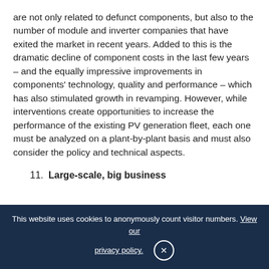are not only related to defunct components, but also to the number of module and inverter companies that have exited the market in recent years. Added to this is the dramatic decline of component costs in the last few years – and the equally impressive improvements in components' technology, quality and performance – which has also stimulated growth in revamping. However, while interventions create opportunities to increase the performance of the existing PV generation fleet, each one must be analyzed on a plant-by-plant basis and must also consider the policy and technical aspects.
11. Large-scale, big business
[partial line cut off at bottom]
This website uses cookies to anonymously count visitor numbers. View our privacy policy. ×